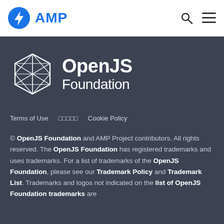AMP
[Figure (logo): OpenJS Foundation logo — geometric diamond wireframe icon with 'OpenJS Foundation' text in white on dark background]
Terms of Use   □□□□□   Cookie Policy
© OpenJS Foundation and AMP Project contributors. All rights reserved. The OpenJS Foundation has registered trademarks and uses trademarks. For a list of trademarks of the OpenJS Foundation, please see our Trademark Policy and Trademark List. Trademarks and logos not indicated on the list of OpenJS Foundation trademarks are